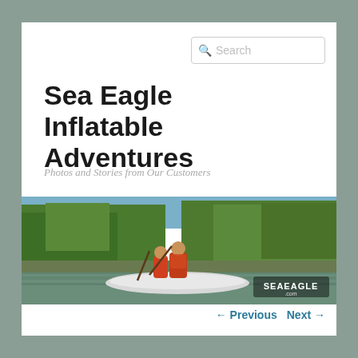Sea Eagle Inflatable Adventures
Photos and Stories from Our Customers
[Figure (photo): Two people paddling an inflatable kayak/boat on a calm river surrounded by green trees, with a Sea Eagle .com logo watermark in the lower right corner.]
← Previous   Next →